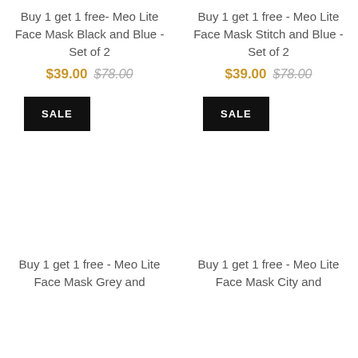Buy 1 get 1 free- Meo Lite Face Mask Black and Blue - Set of 2
$39.00 $78.00
Buy 1 get 1 free - Meo Lite Face Mask Stitch and Blue - Set of 2
$39.00 $78.00
SALE
SALE
Buy 1 get 1 free - Meo Lite Face Mask Grey and
Buy 1 get 1 free - Meo Lite Face Mask City and